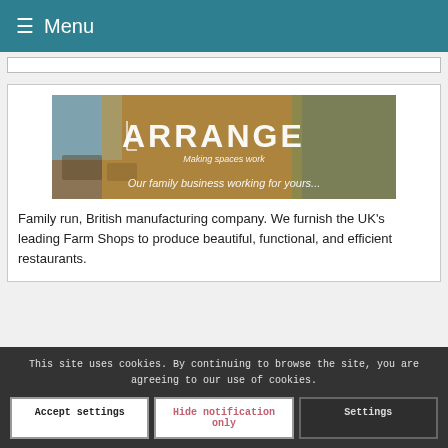≡ Menu
[Figure (illustration): ARRANGE banner image showing a furnished indoor space with text 'ARRANGE Making spaces work' and 'Our family business working for yours...']
Family run, British manufacturing company. We furnish the UK's leading Farm Shops to produce beautiful, functional, and efficient restaurants.
This site uses cookies. By continuing to browse the site, you are agreeing to our use of cookies.
Accept settings | Hide notification only | Settings